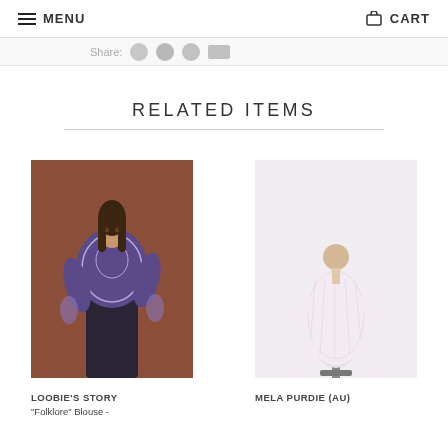MENU   CART
Share:
RELATED ITEMS
[Figure (photo): Woman wearing a purple paisley/folklore blouse with sheer long sleeves and black pants, standing against a brown background.]
[Figure (photo): White mannequin torso displaying a light pink/white lace or patterned cardigan/jacket with flared asymmetric hem and long bell sleeves.]
LOOBIE'S STORY
"Folklore" Blouse -
MELA PURDIE (AU)